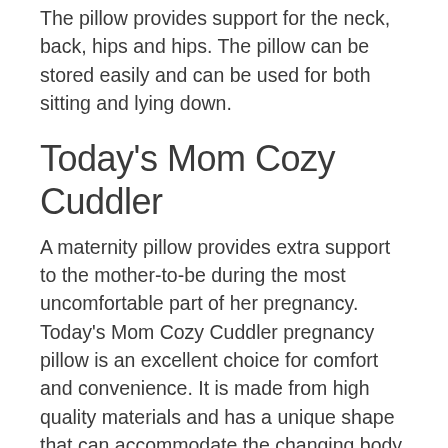The pillow provides support for the neck, back, hips and hips. The pillow can be stored easily and can be used for both sitting and lying down.
Today's Mom Cozy Cuddler
A maternity pillow provides extra support to the mother-to-be during the most uncomfortable part of her pregnancy. Today's Mom Cozy Cuddler pregnancy pillow is an excellent choice for comfort and convenience. It is made from high quality materials and has a unique shape that can accommodate the changing body of a pregnant lady. The pillow can be a great help for a woman who's having a difficult time sleeping at night.
The pillow is made of soft, washable fabric. It